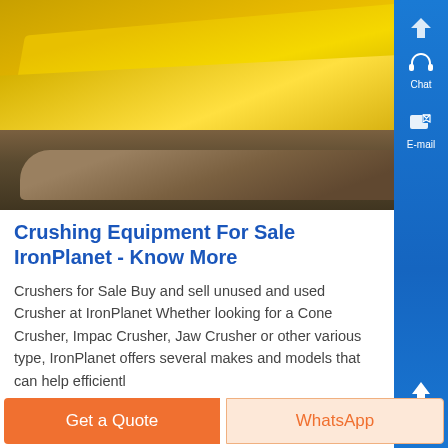[Figure (photo): Yellow crushing/screening equipment (industrial crusher) photographed outdoors with rocky ground below]
Crushing Equipment For Sale IronPlanet - Know More
Crushers for Sale Buy and sell unused and used Crushers at IronPlanet Whether looking for a Cone Crusher, Impact Crusher, Jaw Crusher or other various type, IronPlanet offers several makes and models that can help efficiently...